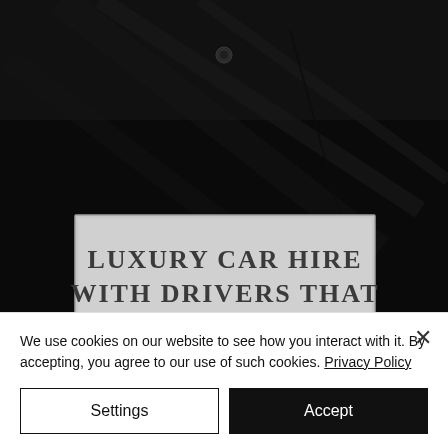[Figure (photo): Close-up of a black luxury car door/side panel. In the lower portion, a silver/grey placard displays the text 'LUXURY CAR HIRE WITH DRIVERS THAT' in dark serif capitals.]
We use cookies on our website to see how you interact with it. By accepting, you agree to our use of such cookies. Privacy Policy
Settings
Accept